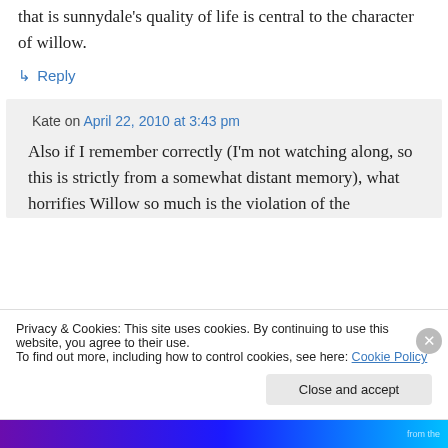that is sunnydale's quality of life is central to the character of willow.
↳ Reply
Kate on April 22, 2010 at 3:43 pm
Also if I remember correctly (I'm not watching along, so this is strictly from a somewhat distant memory), what horrifies Willow so much is the violation of the
Privacy & Cookies: This site uses cookies. By continuing to use this website, you agree to their use.
To find out more, including how to control cookies, see here: Cookie Policy
Close and accept